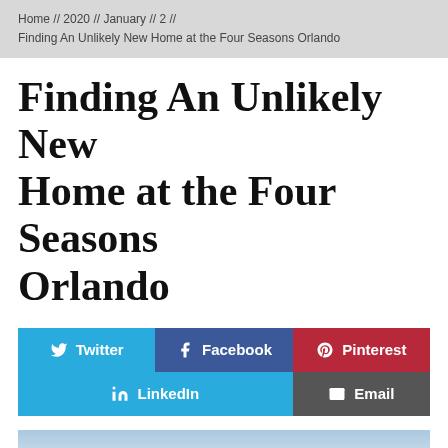Home // 2020 // January // 2 //
Finding An Unlikely New Home at the Four Seasons Orlando
Finding An Unlikely New Home at the Four Seasons Orlando
[Figure (infographic): Social share buttons: Twitter, Facebook, Pinterest, LinkedIn, Email]
[Figure (photo): Aerial landscape photo showing trees and sky, Four Seasons Orlando area]